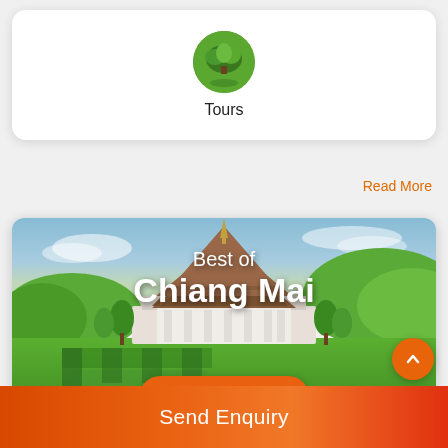[Figure (illustration): Round circular icon with a green tree/nature image representing Tours category]
Tours
Read More
[Figure (photo): Photograph of a Thai temple (Chiang Mai Royal Pavilion) surrounded by green gardens, trees, water reflection, with blue sky and mountains in the background. White text overlay reads 'Best of Chiang Mai' with an orange Explore button.]
Chiang Mai Guides:
Send Enquiry